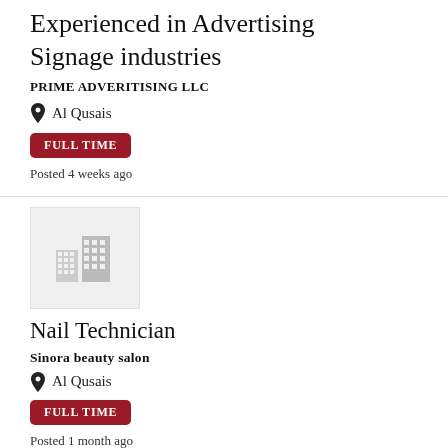Experienced in Advertising Signage industries
PRIME ADVERITISING LLC
Al Qusais
FULL TIME
Posted 4 weeks ago
[Figure (illustration): Grey placeholder building icon on light grey background]
Nail Technician
Sinora beauty salon
Al Qusais
FULL TIME
Posted 1 month ago